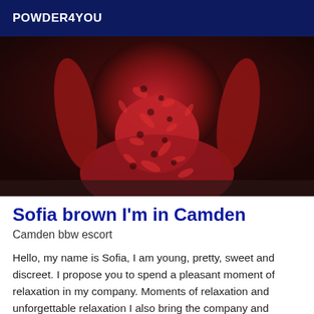POWDER4YOU
[Figure (photo): A person wearing a red and black patterned form-fitting outfit, photographed from behind/side showing torso and arms.]
Sofia brown I'm in Camden
Camden bbw escort
Hello, my name is Sofia, I am young, pretty, sweet and discreet. I propose you to spend a pleasant moment of relaxation in my company. Moments of relaxation and unforgettable relaxation I also bring the company and